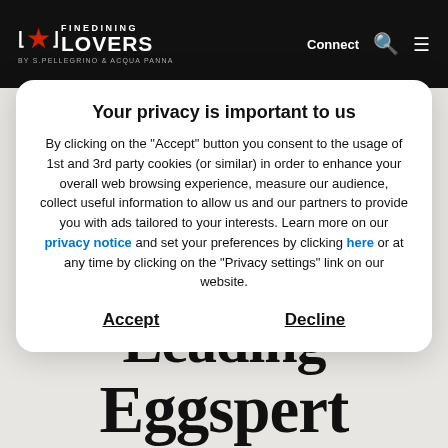[Figure (logo): Fine Dining Lovers logo with red star, white text on black navbar, 'BY S.PELLEGRINO & ACQUA PANNA' subtitle, plus Connect, search, and menu icons]
Your privacy is important to us
By clicking on the "Accept" button you consent to the usage of 1st and 3rd party cookies (or similar) in order to enhance your overall web browsing experience, measure our audience, collect useful information to allow us and our partners to provide you with ads tailored to your interests. Learn more on our privacy notice and set your preferences by clicking here or at any time by clicking on the "Privacy settings" link on our website.
Accept
Decline
London's Leading Eggspert